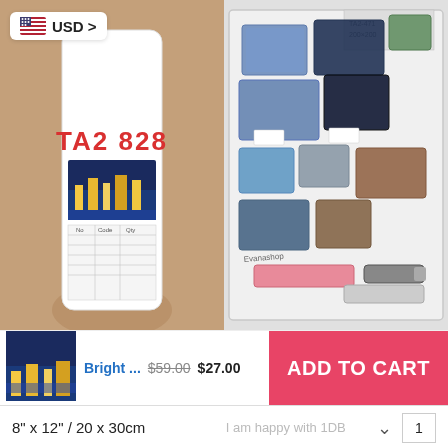[Figure (photo): Left photo: a rolled-up diamond painting canvas/tube labeled 'TA2 828' in red text with a city-night scene image and a grid legend. A USD currency selector badge is overlaid top-left.]
[Figure (photo): Right photo: diamond painting kit contents spread out — multiple small plastic bags of colored beads/diamonds, plus tools (pen applicator, wax, tray), inside a clear plastic bag labeled 'Evanashop'.]
[Figure (photo): Small thumbnail of the finished diamond painting product showing a bright city/night scene.]
Bright ... $59.00 $27.00
ADD TO CART
8" x 12" / 20 x 30cm
I am happy with 1DB
1